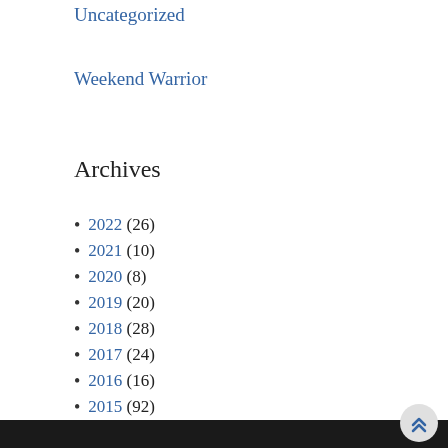Uncategorized
Weekend Warrior
Archives
2022 (26)
2021 (10)
2020 (8)
2019 (20)
2018 (28)
2017 (24)
2016 (16)
2015 (92)
2014 (76)
2013 (34)